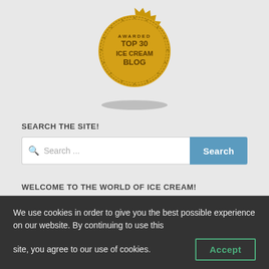[Figure (illustration): Gold badge/seal with text 'TOP 30 ICE CREAM BLOG' on a decorative sunburst/gear edge medal, with a shadow below]
SEARCH THE SITE!
[Figure (screenshot): Search bar with placeholder 'Search ...' and a blue 'Search' button]
WELCOME TO THE WORLD OF ICE CREAM!
— Welcome!
We use cookies in order to give you the best possible experience on our website. By continuing to use this site, you agree to our use of cookies.